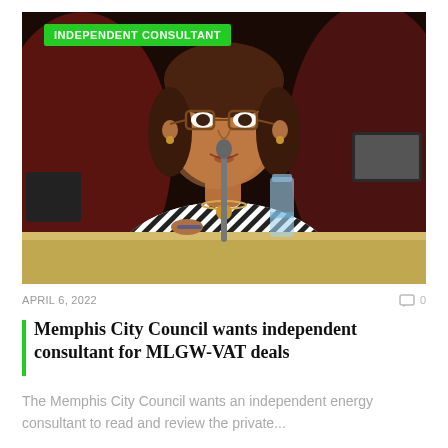[Figure (photo): A woman speaking at a city council meeting, sitting at a desk with a microphone, glasses, patterned jacket, water bottle and laptop visible in background. Green 'INDEPENDENT CONSULTANT' tag overlaid in top left.]
APRIL 6, 2022
0
Memphis City Council wants independent consultant for MLGW-VAT deals
The Memphis City Council wants an independent energy consultant to read and review the private...